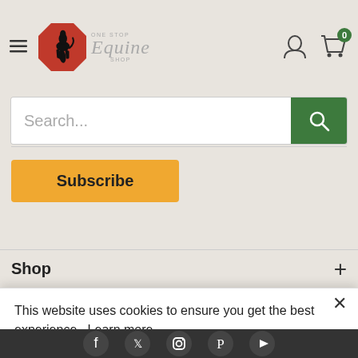[Figure (screenshot): One Stop Equine Shop logo with red octagon badge and rearing horse silhouette, script Equine text]
[Figure (screenshot): User account icon and shopping cart icon with green badge showing 0]
Search...
[Figure (screenshot): Green search button with magnifying glass icon]
Subscribe
Shop
This website uses cookies to ensure you get the best experience.  Learn more
Decline
Accept
[Figure (screenshot): Social media icons row: Facebook, Twitter, Instagram, Pinterest, YouTube]